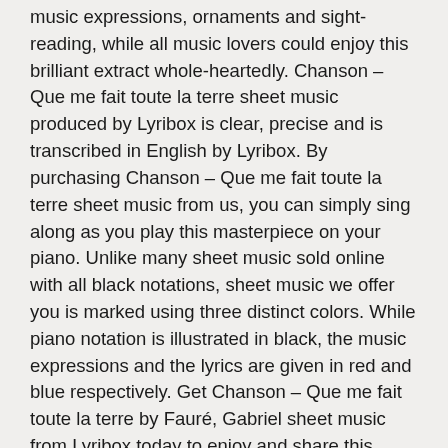music expressions, ornaments and sight-reading, while all music lovers could enjoy this brilliant extract whole-heartedly. Chanson – Que me fait toute la terre sheet music produced by Lyribox is clear, precise and is transcribed in English by Lyribox. By purchasing Chanson – Que me fait toute la terre sheet music from us, you can simply sing along as you play this masterpiece on your piano. Unlike many sheet music sold online with all black notations, sheet music we offer you is marked using three distinct colors. While piano notation is illustrated in black, the music expressions and the lyrics are given in red and blue respectively. Get Chanson – Que me fait toute la terre by Fauré, Gabriel sheet music from Lyribox today to enjoy and share this wonderful music composition with your friends and family.
Accompaniment
Chanson – Que me fait toute la terre piano accompaniment is offered by Lyribox is mellow and smooth. It feeds the poem an underlying pulse, adding a sense of propulsion to it. Meanwhile the vocal line flows in a dreamy leisure manner forcing the audience into a calming and languid mood. The vocal line of Chanson – Que me fait toute la terre by Lyribox has the